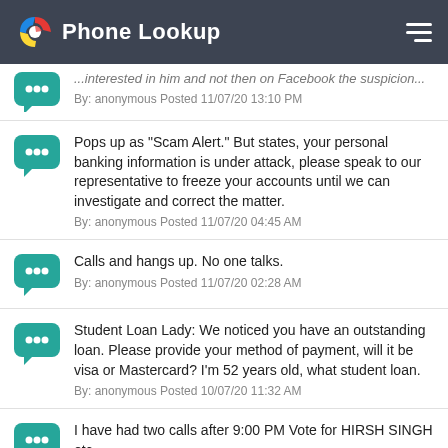Phone Lookup
...interested in him and not then on Facebook the suspicion...
By: anonymous Posted 11/07/20 13:10 PM
Pops up as "Scam Alert." But states, your personal banking information is under attack, please speak to our representative to freeze your accounts until we can investigate and correct the matter.
By: anonymous Posted 11/07/20 04:45 AM
Calls and hangs up. No one talks.
By: anonymous Posted 11/07/20 02:28 AM
Student Loan Lady: We noticed you have an outstanding loan. Please provide your method of payment, will it be visa or Mastercard? I'm 52 years old, what student loan.
By: anonymous Posted 10/07/20 11:32 AM
I have had two calls after 9:00 PM Vote for HIRSH SINGH etc....